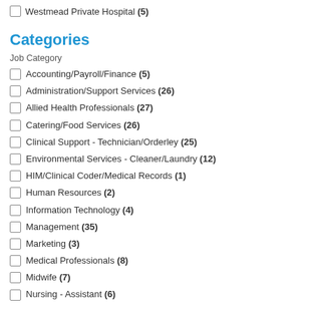Westmead Private Hospital (5)
Categories
Job Category
Accounting/Payroll/Finance (5)
Administration/Support Services (26)
Allied Health Professionals (27)
Catering/Food Services (26)
Clinical Support - Technician/Orderley (25)
Environmental Services - Cleaner/Laundry (12)
HIM/Clinical Coder/Medical Records (1)
Human Resources (2)
Information Technology (4)
Management (35)
Marketing (3)
Medical Professionals (8)
Midwife (7)
Nursing - Assistant (6)